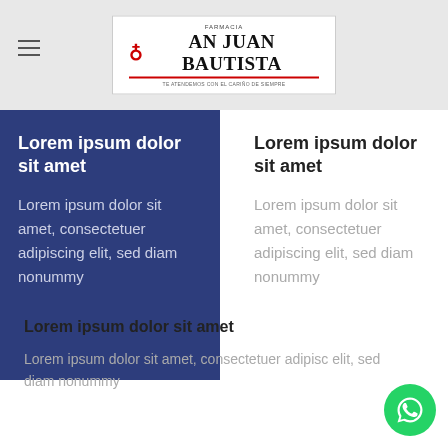FARMACIA SAN JUAN BAUTISTA
Lorem ipsum dolor sit amet
Lorem ipsum dolor sit amet, consectetuer adipiscing elit, sed diam nonummy
Lorem ipsum dolor sit amet
Lorem ipsum dolor sit amet, consectetuer adipiscing elit, sed diam nonummy
Lorem ipsum dolor sit amet
Lorem ipsum dolor sit amet, consectetuer adipisc elit, sed diam nonummy